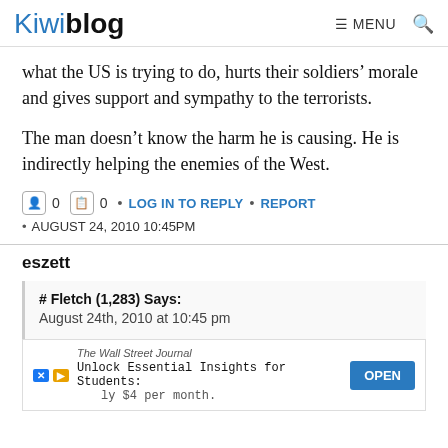Kiwiblog   ≡ MENU   🔍
what the US is trying to do, hurts their soldiers' morale and gives support and sympathy to the terrorists.
The man doesn't know the harm he is causing. He is indirectly helping the enemies of the West.
0  0  •  LOG IN TO REPLY  •  REPORT
• AUGUST 24, 2010 10:45PM
eszett
# Fletch (1,283) Says:
August 24th, 2010 at 10:45 pm
I don...may have...Who
[Figure (screenshot): Wall Street Journal advertisement overlay: 'Unlock Essential Insights for Students: Only $4 per month.' with OPEN button]